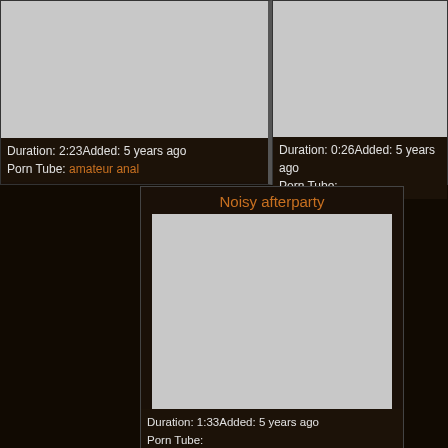[Figure (screenshot): Gray thumbnail image placeholder, top-left card]
Duration: 2:23Added: 5 years ago
Porn Tube: amateur anal
[Figure (screenshot): Gray thumbnail image placeholder, top-right card]
Duration: 0:26Added: 5 years ago
Porn Tube:
Noisy afterparty
[Figure (screenshot): Gray thumbnail image placeholder, center card]
Duration: 1:33Added: 5 years ago
Porn Tube: